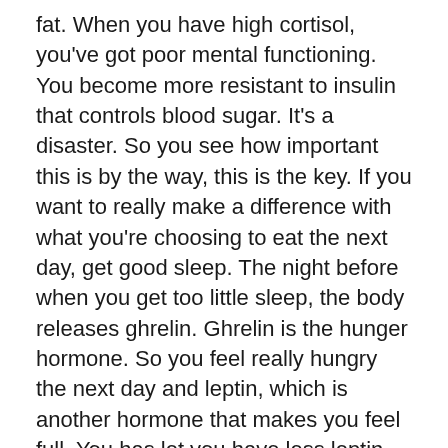fat. When you have high cortisol, you've got poor mental functioning. You become more resistant to insulin that controls blood sugar. It's a disaster. So you see how important this is by the way, this is the key. If you want to really make a difference with what you're choosing to eat the next day, get good sleep. The night before when you get too little sleep, the body releases ghrelin. Ghrelin is the hunger hormone. So you feel really hungry the next day and leptin, which is another hormone that makes you feel full. You has let you have less leptin, so you don't feel very satisfied. So this is not just willpower. I think as women we're like, Oh goodness, I just, I need more determination. I need to have more willpower. I need somebody to follow me around and knock the food, the bad food out of my hand. No girl, you might just need to get some good sleep. And you're going to find how much easier it is to make those good choices